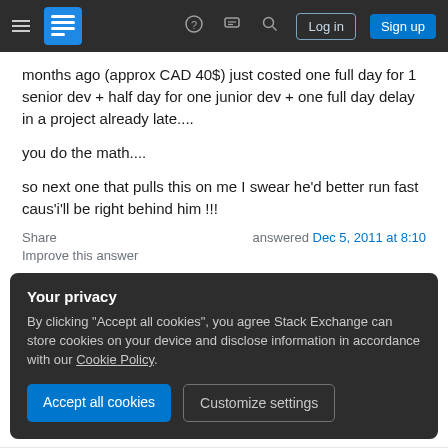Stack Exchange navigation bar with hamburger menu, logo, help icon, chat icon, search icon, Log in button, Sign up button
months ago (approx CAD 40$) just costed one full day for 1 senior dev + half day for one junior dev + one full day delay in a project already late....
you do the math....
so next one that pulls this on me I swear he'd better run fast caus'i'll be right behind him !!!
Share
Improve this answer
answered Dec 5, 2011 at 8:10
Your privacy
By clicking "Accept all cookies", you agree Stack Exchange can store cookies on your device and disclose information in accordance with our Cookie Policy.
Accept all cookies   Customize settings
classes, but this is so much work. – Simon Dec 5